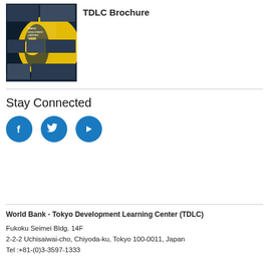[Figure (illustration): TDLC Brochure cover image showing a collage of photos with dark blue and yellow circular design elements, text reading 'TOKYO DEVELOPMENT LEARNING CENTRE']
TDLC Brochure
Stay Connected
[Figure (illustration): Three blue circular social media icons: Facebook (f), Twitter (bird), YouTube (play button)]
World Bank - Tokyo Development Learning Center (TDLC)
Fukoku Seimei Bldg. 14F
2-2-2 Uchisaiwai-cho, Chiyoda-ku, Tokyo 100-0011, Japan
Tel :+81-(0)3-3597-1333